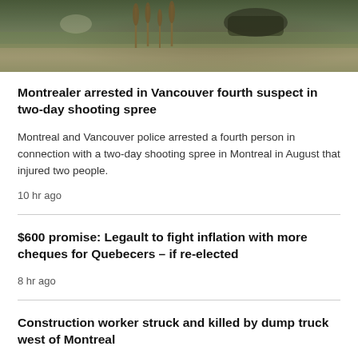[Figure (photo): Outdoor scene with greenery and soil, possibly police/crime scene or construction area]
Montrealer arrested in Vancouver fourth suspect in two-day shooting spree
Montreal and Vancouver police arrested a fourth person in connection with a two-day shooting spree in Montreal in August that injured two people.
10 hr ago
$600 promise: Legault to fight inflation with more cheques for Quebecers – if re-elected
8 hr ago
Construction worker struck and killed by dump truck west of Montreal
11 hr ago